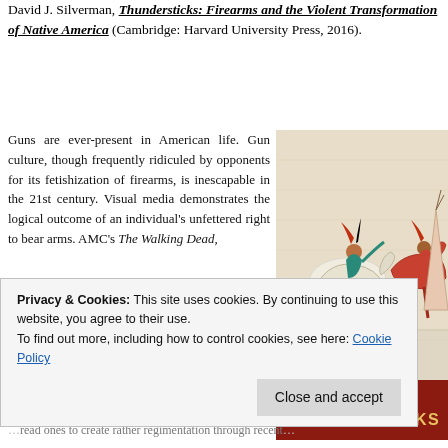David J. Silverman, Thundersticks: Firearms and the Violent Transformation of Native America (Cambridge: Harvard University Press, 2016).
Guns are ever-present in American life. Gun culture, though frequently ridiculed by opponents for its fetishization of firearms, is inescapable in the 21st century. Visual media demonstrates the logical outcome of an individual's unfettered right to bear arms. AMC's The Walking Dead,
[Figure (illustration): Book cover of Thundersticks by David J. Silverman showing Native American warriors on horseback in traditional pictograph art style, with dark red bottom band showing the title THUNDERSTICKS]
Privacy & Cookies: This site uses cookies. By continuing to use this website, you agree to their use.
To find out more, including how to control cookies, see here: Cookie Policy
Close and accept
...read ones to create rather regimentation through recent...